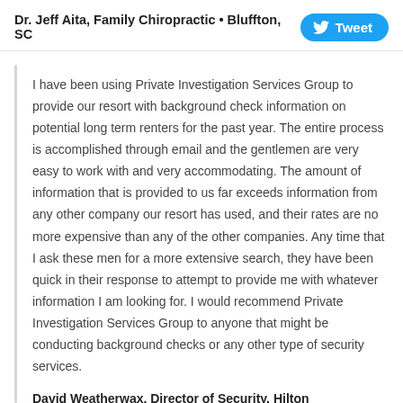Dr. Jeff Aita, Family Chiropractic • Bluffton, SC
I have been using Private Investigation Services Group to provide our resort with background check information on potential long term renters for the past year. The entire process is accomplished through email and the gentlemen are very easy to work with and very accommodating. The amount of information that is provided to us far exceeds information from any other company our resort has used, and their rates are no more expensive than any of the other companies. Any time that I ask these men for a more extensive search, they have been quick in their response to attempt to provide me with whatever information I am looking for. I would recommend Private Investigation Services Group to anyone that might be conducting background checks or any other type of security services.
David Weatherwax, Director of Security, Hilton Head Island Beach and Tennis Resort • Hilton